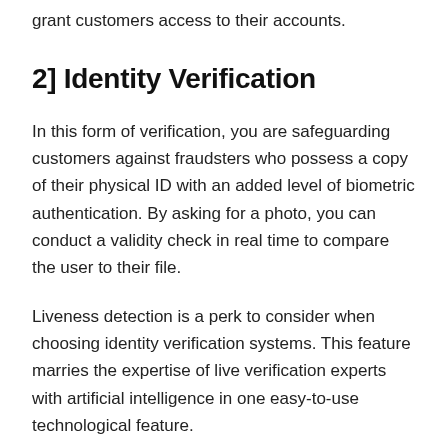grant customers access to their accounts.
2] Identity Verification
In this form of verification, you are safeguarding customers against fraudsters who possess a copy of their physical ID with an added level of biometric authentication. By asking for a photo, you can conduct a validity check in real time to compare the user to their file.
Liveness detection is a perk to consider when choosing identity verification systems. This feature marries the expertise of live verification experts with artificial intelligence in one easy-to-use technological feature.